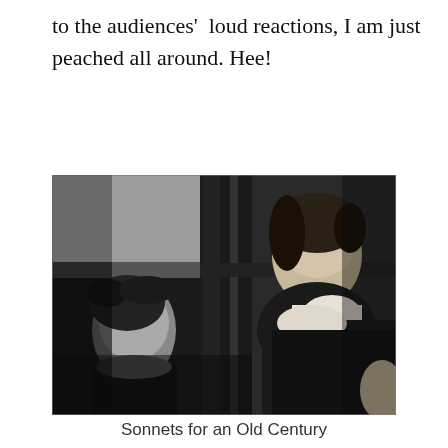to the audiences'  loud reactions, I am just peached all around. Hee!
[Figure (photo): Black and white photograph showing a young woman with hair pulled back looking out a window from the right side; on the left side through the window pane reflection or another person with dark windswept hair is visible. The image has high contrast with dark shadows and light areas.]
Sonnets for an Old Century